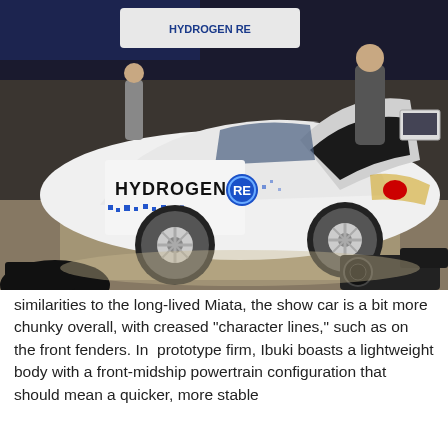[Figure (photo): A white Mazda Hydrogen RE concept car on display at an auto show, with the door open and hood up, 'HYDROGEN RE' lettering on the door panel with blue square graphics. A camera operator is visible in the foreground lower right.]
similarities to the long-lived Miata, the show car is a bit more chunky overall, with creased "character lines," such as on the front fenders. In  prototype firm, Ibuki boasts a lightweight body with a front-midship powertrain configuration that should mean a quicker, more stable